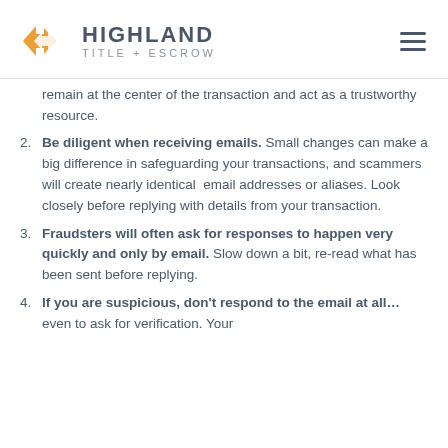HIGHLAND TITLE + ESCROW
remain at the center of the transaction and act as a trustworthy resource.
Be diligent when receiving emails. Small changes can make a big difference in safeguarding your transactions, and scammers will create nearly identical email addresses or aliases. Look closely before replying with details from your transaction.
Fraudsters will often ask for responses to happen very quickly and only by email. Slow down a bit, re-read what has been sent before replying.
If you are suspicious, don't respond to the email at all…even to ask for verification. Your